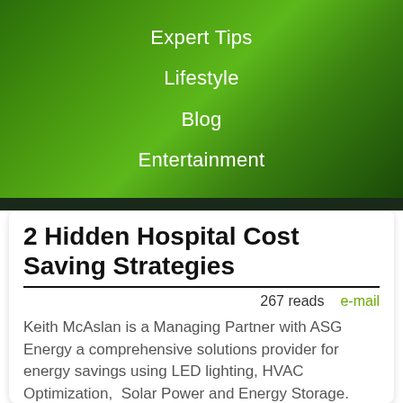Expert Tips
Lifestyle
Blog
Entertainment
2 Hidden Hospital Cost Saving Strategies
267 reads   e-mail
Keith McAslan is a Managing Partner with ASG Energy a comprehensive solutions provider for energy savings using LED lighting, HVAC Optimization,  Solar Power and Energy Storage.  For additional information, please